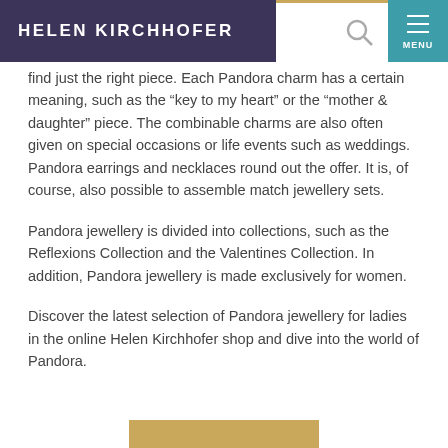HELEN KIRCHHOFER
find just the right piece. Each Pandora charm has a certain meaning, such as the “key to my heart” or the “mother & daughter” piece. The combinable charms are also often given on special occasions or life events such as weddings. Pandora earrings and necklaces round out the offer. It is, of course, also possible to assemble match jewellery sets.
Pandora jewellery is divided into collections, such as the Reflexions Collection and the Valentines Collection. In addition, Pandora jewellery is made exclusively for women.
Discover the latest selection of Pandora jewellery for ladies in the online Helen Kirchhofer shop and dive into the world of Pandora.
[Figure (other): Gold/tan colored button or banner element at the bottom center of the page]